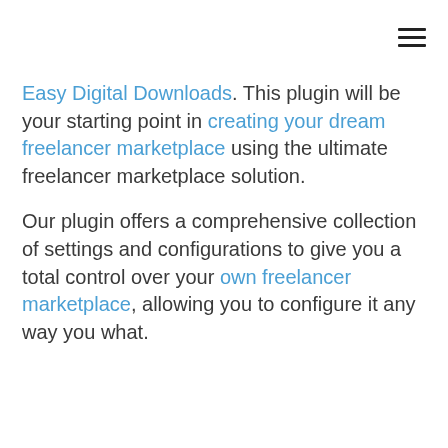Easy Digital Downloads. This plugin will be your starting point in creating your dream freelancer marketplace using the ultimate freelancer marketplace solution.
Our plugin offers a comprehensive collection of settings and configurations to give you a total control over your own freelancer marketplace, allowing you to configure it any way you what.